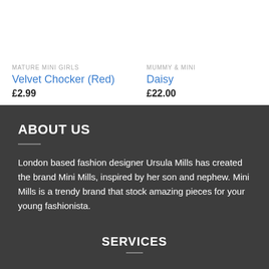MATURE MINI GIRLS
Velvet Chocker (Red)
£2.99
MUMMY & MINI
Daisy
£22.00
ABOUT US
London based fashion designer Ursula Mills has created the brand Mini Mills, inspired by her son and nephew. Mini Mills is a trendy brand that stock amazing pieces for your young fashionista.
SERVICES